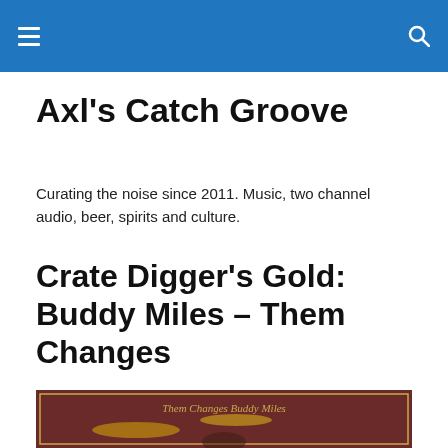Axl's Catch Groove — navigation header
Axl's Catch Groove
Curating the noise since 2011. Music, two channel audio, beer, spirits and culture.
Crate Digger's Gold: Buddy Miles – Them Changes
[Figure (photo): Album cover of Buddy Miles – Them Changes, showing Buddy Miles seated behind a drum kit with cymbals, against a dark reddish-brown background. Text at top reads 'Them Changes Buddy Miles'.]